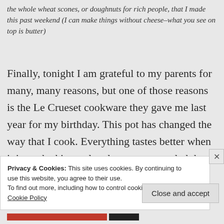the whole wheat scones, or doughnuts for rich people, that I made this past weekend (I can make things without cheese–what you see on top is butter)
Finally, tonight I am grateful to my parents for many, many reasons, but one of those reasons is the Le Crueset cookware they gave me last year for my birthday. This pot has changed the way that I cook. Everything tastes better when it is cooked in my lovely green enameled dutch oven, including the gratin that I made last
Privacy & Cookies: This site uses cookies. By continuing to use this website, you agree to their use.
To find out more, including how to control cookies, see here:
Cookie Policy
Close and accept